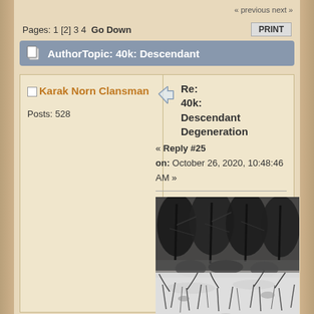« previous next »
Pages: 1 [2] 3 4  Go Down
AuthorTopic: 40k: Descendant
Karak Norn Clansman
Posts: 528
Re: 40k: Descendant Degeneration
« Reply #25
on: October 26, 2020, 10:48:46 AM »
[Figure (illustration): Pencil sketch illustration of a dark forest scene with dense trees and undergrowth in the upper half, and a snowy or light ground with grass and plants in the lower half]